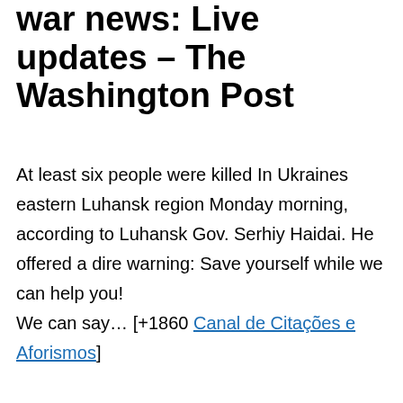war news: Live updates – The Washington Post
At least six people were killed In Ukraines eastern Luhansk region Monday morning, according to Luhansk Gov. Serhiy Haidai. He offered a dire warning: Save yourself while we can help you! We can say… [+1860 Canal de Citações e Aforismos]